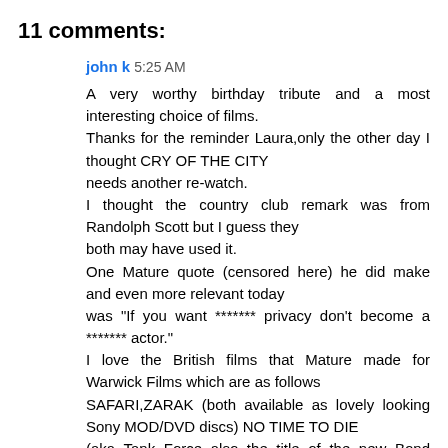11 comments:
john k 5:25 AM
A very worthy birthday tribute and a most interesting choice of films.
Thanks for the reminder Laura,only the other day I thought CRY OF THE CITY
needs another re-watch.
I thought the country club remark was from Randolph Scott but I guess they
both may have used it.
One Mature quote (censored here) he did make and even more relevant today
was "If you want ******* privacy don't become a ******* actor."
I love the British films that Mature made for Warwick Films which are as follows
SAFARI,ZARAK (both available as lovely looking Sony MOD/DVD discs) NO TIME TO DIE
(aka Tank Force also the title of the new Bond picture)